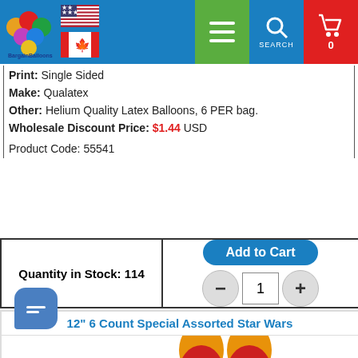BargainBalloons website header with logo, flags, navigation menu, search, and cart
Print: Single Sided
Make: Qualatex
Other: Helium Quality Latex Balloons, 6 PER bag.
Wholesale Discount Price: $1.44 USD
Product Code: 55541
Quantity in Stock: 114
Add to Cart
12" 6 Count Special Assorted Star Wars
[Figure (photo): Star Wars assorted latex balloons in orange and red colors with Star Wars characters printed on them]